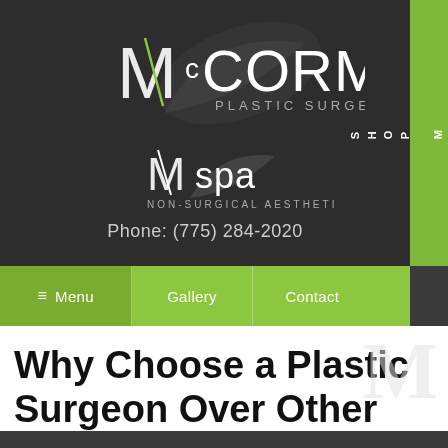[Figure (logo): McCormack Plastic Surgery logo with stylized M/c and leaf graphic in dark background]
[Figure (logo): M spa Non-Surgical Aesthetics logo with stylized M and leaf graphic]
Phone: (775) 284-2020
Menu   Gallery   Contact
[Figure (other): SHOP M SPA vertical green tab on right side]
Why Choose a Plastic Surgeon Over Other